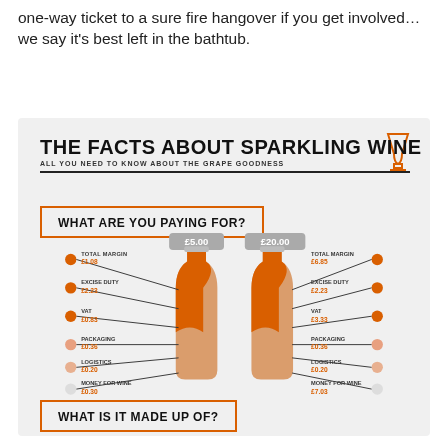one-way ticket to a sure fire hangover if you get involved…we say it's best left in the bathtub.
[Figure (infographic): Infographic titled 'The Facts About Sparkling Wine - All you need to know about the grape goodness'. Shows two wine bottles labeled £5.00 and £20.00 with breakdown of costs: Total Margin £1.08/£6.85, Excise Duty £2.23/£2.23, VAT £0.83/£3.33, Packaging £0.36/£0.36, Logistics £0.20/£0.20, Money for Wine £0.30/£7.03. Bottom section asks 'What is it made up of?']